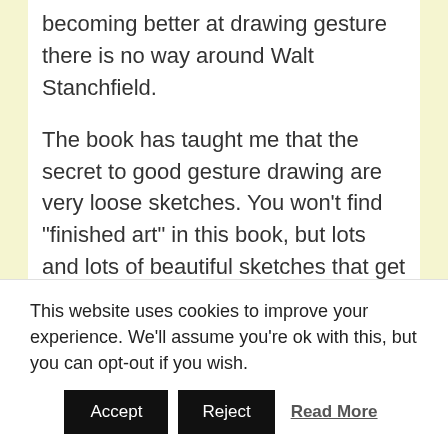becoming better at drawing gesture there is no way around Walt Stanchfield.
The book has taught me that the secret to good gesture drawing are very loose sketches. You won’t find “finished art” in this book, but lots and lots of beautiful sketches that get the “essence” of the movement down to a tee. No other drawing / art making book gets as much praise as Drawn to Life and there’s a reason for this. Get it!
[Figure (screenshot): Partial view of a webpage with a green button element visible]
This website uses cookies to improve your experience. We’ll assume you’re ok with this, but you can opt-out if you wish.
Accept   Reject   Read More